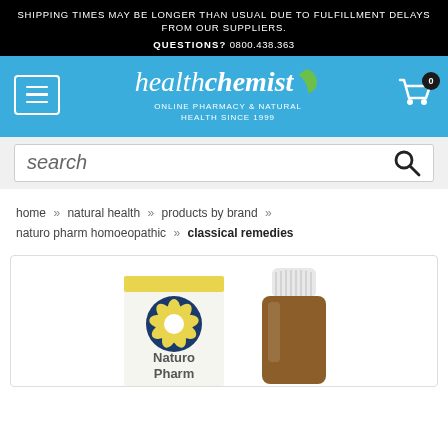SHIPPING TIMES MAY BE LONGER THAN USUAL DUE TO FULFILLMENT DELAYS FROM OUR SUPPLIERS. QUESTIONS? 0800.438.363
[Figure (logo): healthchemist online pharmacy & natural health since 1999 logo with green leaf]
search
home » natural health » products by brand » naturo pharm homoeopathic » classical remedies
[Figure (photo): Naturo Pharm product packaging - a box and small amber dropper bottle with white cap showing Naturo Pharm logo (blue circle with yellow flower)]